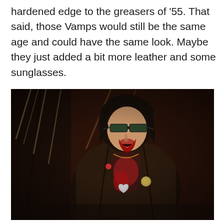hardened edge to the greasers of '55. That said, those Vamps would still be the same age and could have the same look. Maybe they just added a bit more leather and some sunglasses.
[Figure (photo): A dark, moody film still showing a young man with dark hair, wearing sunglasses and a leather jacket adorned with pins/badges. His mouth and face are covered in blood. He stands in a dimly lit, shadowy environment.]